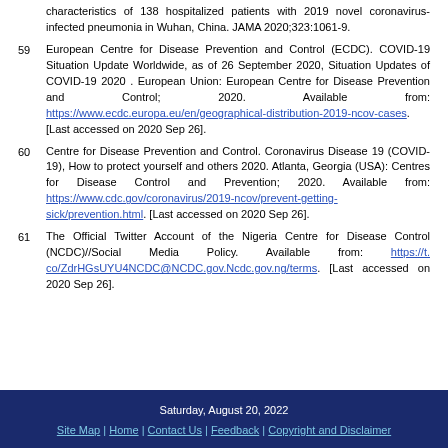characteristics of 138 hospitalized patients with 2019 novel coronavirus-infected pneumonia in Wuhan, China. JAMA 2020;323:1061-9.
59 European Centre for Disease Prevention and Control (ECDC). COVID-19 Situation Update Worldwide, as of 26 September 2020, Situation Updates of COVID-19 2020 . European Union: European Centre for Disease Prevention and Control; 2020. Available from: https://www.ecdc.europa.eu/en/geographical-distribution-2019-ncov-cases. [Last accessed on 2020 Sep 26].
60 Centre for Disease Prevention and Control. Coronavirus Disease 19 (COVID-19), How to protect yourself and others 2020. Atlanta, Georgia (USA): Centres for Disease Control and Prevention; 2020. Available from: https://www.cdc.gov/coronavirus/2019-ncov/prevent-getting-sick/prevention.html. [Last accessed on 2020 Sep 26].
61 The Official Twitter Account of the Nigeria Centre for Disease Control (NCDC)//Social Media Policy. Available from: https://t. co/ZdrHGsUYU4NCDC@NCDC.gov.Ncdc.gov.ng/terms. [Last accessed on 2020 Sep 26].
Saturday, August 20, 2022 | Site Map | Home | Contact Us | Feedback | Copyright and Disclaimer